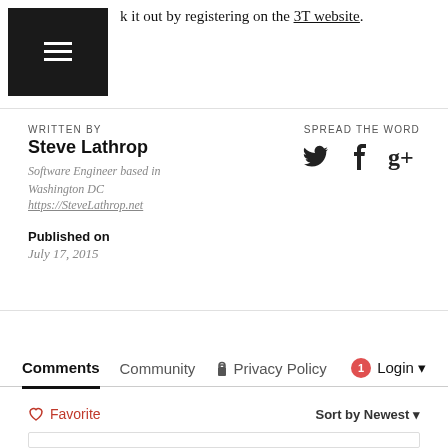k it out by registering on the 3T website.
WRITTEN BY
Steve Lathrop
Software Engineer based in Washington DC
https://SteveLathrop.net
Published on
July 17, 2015
SPREAD THE WORD
Comments  Community  Privacy Policy  Login
Favorite
Sort by Newest